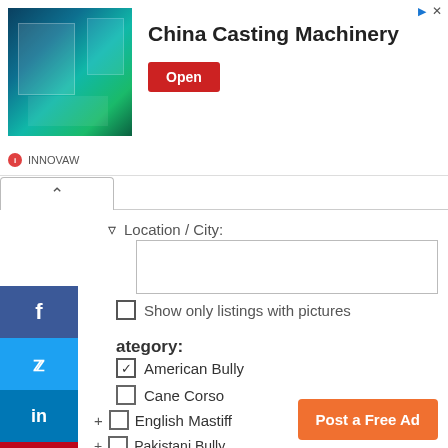[Figure (screenshot): Advertisement banner for China Casting Machinery with industrial machinery image, Open button, and INNOVAW brand logo]
Location / City:
Show only listings with pictures
ategory:
American Bully
Cane Corso
+ English Mastiff
+ Pakistani Bully
+ Labrador Retriever
+ Pug
+ Beagle
+ Golden Retriever
Post a Free Ad